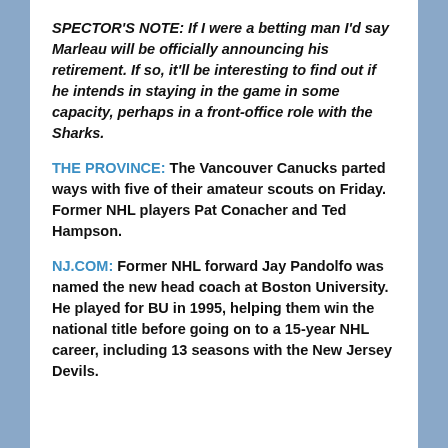SPECTOR'S NOTE: If I were a betting man I'd say Marleau will be officially announcing his retirement. If so, it'll be interesting to find out if he intends in staying in the game in some capacity, perhaps in a front-office role with the Sharks.
THE PROVINCE: The Vancouver Canucks parted ways with five of their amateur scouts on Friday. Former NHL players Pat Conacher and Ted Hampson.
NJ.COM: Former NHL forward Jay Pandolfo was named the new head coach at Boston University. He played for BU in 1995, helping them win the national title before going on to a 15-year NHL career, including 13 seasons with the New Jersey Devils.